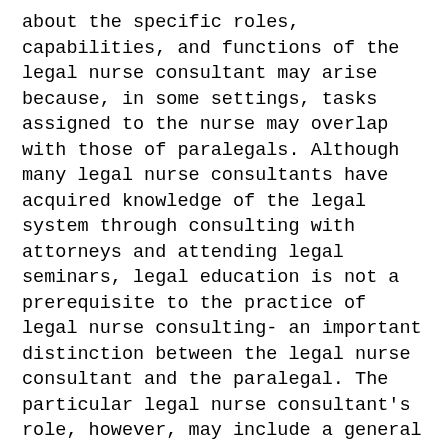about the specific roles, capabilities, and functions of the legal nurse consultant may arise because, in some settings, tasks assigned to the nurse may overlap with those of paralegals. Although many legal nurse consultants have acquired knowledge of the legal system through consulting with attorneys and attending legal seminars, legal education is not a prerequisite to the practice of legal nurse consulting- an important distinction between the legal nurse consultant and the paralegal. The particular legal nurse consultant's role, however, may include a general working knowledge of the relevant substantive and procedural law and regulatory guidelines impacting the legal nurse consultant's casework. This is especially important for legal nurse consultants working on mass tort or environmental contamination claims.